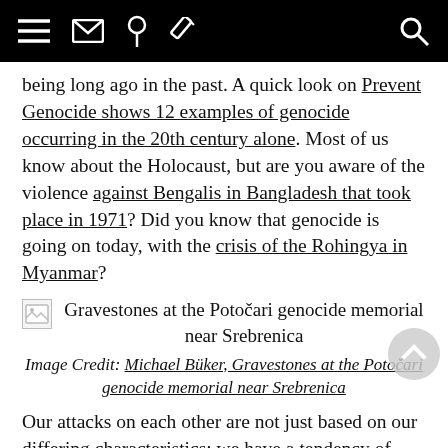[Navigation bar with menu, email, pin, edit icons and search icon]
being long ago in the past. A quick look on Prevent Genocide shows 12 examples of genocide occurring in the 20th century alone. Most of us know about the Holocaust, but are you aware of the violence against Bengalis in Bangladesh that took place in 1971? Did you know that genocide is going on today, with the crisis of the Rohingya in Myanmar?
[Figure (photo): Broken image placeholder with caption: Gravestones at the Potočari genocide memorial near Srebrenica]
Image Credit: Michael Büker, Gravestones at the Potočari genocide memorial near Srebrenica
Our attacks on each other are not just based on our differing characteristics; we have a tendency of trying to kill each other over very trivial matters too. For how long now have North Korea been threatening to nuke the